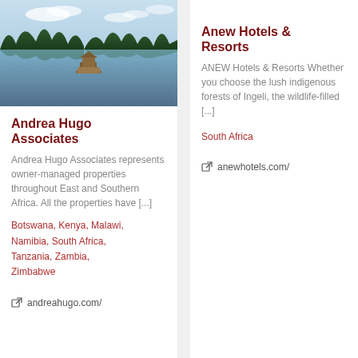[Figure (photo): Aerial or elevated view of a lake or river with lush green trees along the banks and a wooden dock/pier extending into the water under a blue sky with clouds.]
Andrea Hugo Associates
Andrea Hugo Associates represents owner-managed properties throughout East and Southern Africa. All the properties have [...]
Botswana, Kenya, Malawi, Namibia, South Africa, Tanzania, Zambia, Zimbabwe
andreahugo.com/
Anew Hotels & Resorts
ANEW Hotels & Resorts Whether you choose the lush indigenous forests of Ingeli, the wildlife-filled [...]
South Africa
anewhotels.com/